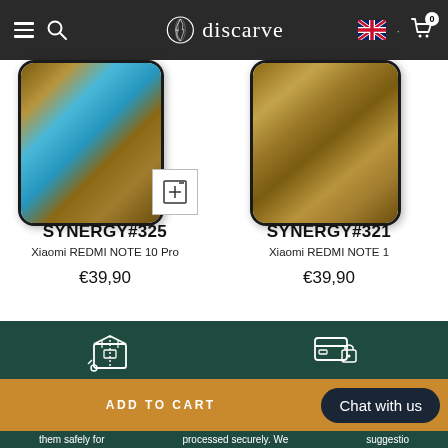discarve — navigation bar with hamburger menu, search, brand logo, UK flag, cart with 0 items
[Figure (photo): Product photo of SYNERGY#325 phone case on Xiaomi REDMI NOTE 10 Pro, wood and blue resin texture]
SYNERGY#325
Xiaomi REDMI NOTE 10 Pro
€39,90
[Figure (photo): Product photo of SYNERGY#321 phone case on Xiaomi REDMI NOTE 1, wood texture]
SYNERGY#321
Xiaomi REDMI NOTE 1
€39,90
[Figure (infographic): Dark green footer with shipping box icon and secure payment card icon]
ADD TO CART
Chat with us
them safely for
processed securely. We
suggestio